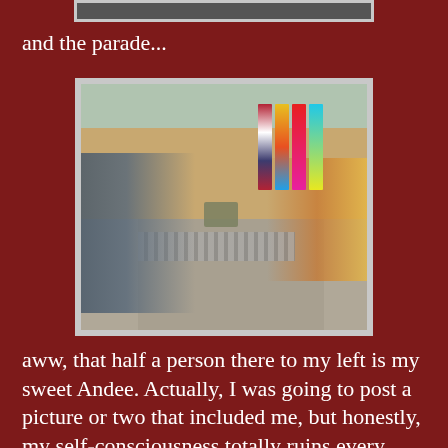[Figure (photo): Top portion of a photo partially visible at the top of the page (cropped)]
and the parade...
[Figure (photo): Outdoor scene at a county or state fair showing a crowd of people lined up behind metal barriers on the left, colorful flags and vendor booths on the right, a military vehicle in the center of the road, trees in the background, and an overcast sky.]
aww, that half a person there to my left is my sweet Andee. Actually, I was going to post a picture or two that included me, but honestly, my self-consciousness totally ruins every picture! Seriously! If someone